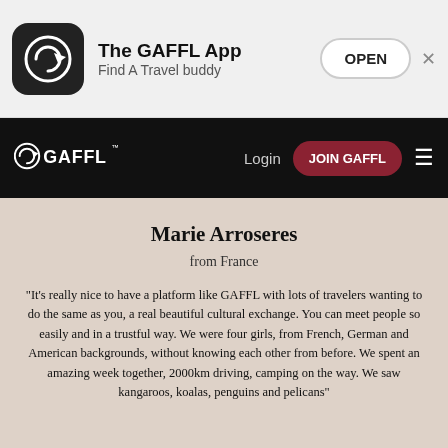The GAFFL App | Find A Travel buddy | OPEN
GAFFL | Login | JOIN GAFFL
Marie Arroseres
from France
"It's really nice to have a platform like GAFFL with lots of travelers wanting to do the same as you, a real beautiful cultural exchange. You can meet people so easily and in a trustful way. We were four girls, from French, German and American backgrounds, without knowing each other from before. We spent an amazing week together, 2000km driving, camping on the way. We saw kangaroos, koalas, penguins and pelicans"